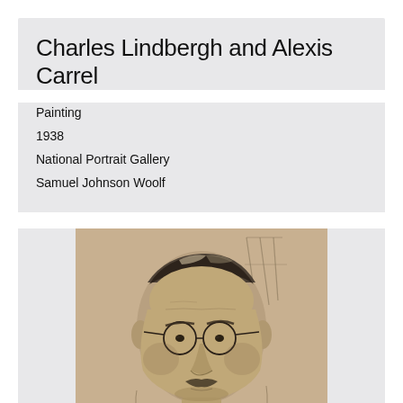Charles Lindbergh and Alexis Carrel
Painting
1938
National Portrait Gallery
Samuel Johnson Woolf
[Figure (photo): Charcoal or graphite portrait drawing of an older man with glasses and a mustache, rendered in a sketchy illustrative style on beige/tan paper. The subject appears to be Alexis Carrel, depicted from the chest up, wearing a collared shirt. Background shows loose sketch lines suggesting an interior setting.]